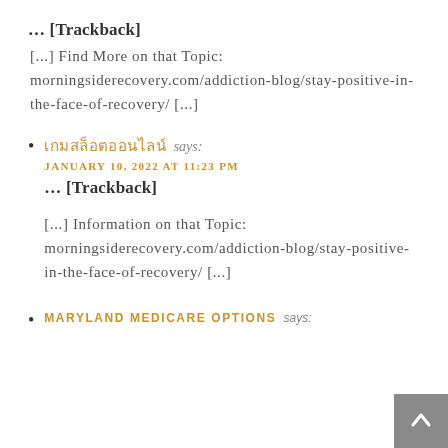... [Trackback]
[...] Find More on that Topic: morningsiderecovery.com/addiction-blog/stay-positive-in-the-face-of-recovery/ [...]
เกมสล็อตออนไลน์ says: JANUARY 10, 2022 AT 11:23 PM
... [Trackback]
[...] Information on that Topic: morningsiderecovery.com/addiction-blog/stay-positive-in-the-face-of-recovery/ [...]
MARYLAND MEDICARE OPTIONS says: